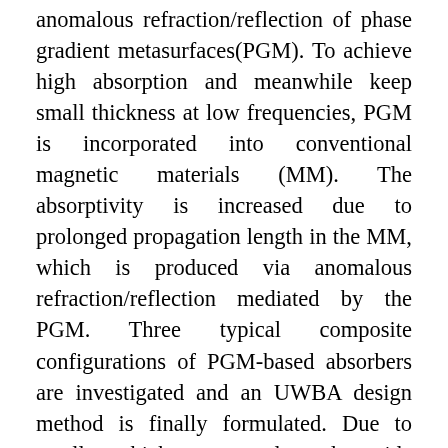anomalous refraction/reflection of phase gradient metasurfaces(PGM). To achieve high absorption and meanwhile keep small thickness at low frequencies, PGM is incorporated into conventional magnetic materials (MM). The absorptivity is increased due to prolonged propagation length in the MM, which is produced via anomalous refraction/reflection mediated by the PGM. Three typical composite configurations of PGM-based absorbers are investigated and an UWBA design method is finally formulated. Due to small thickness and ultra-wide bandwidth, such absorbers possess great application potentials in EM protection, RCS reduction, etc.